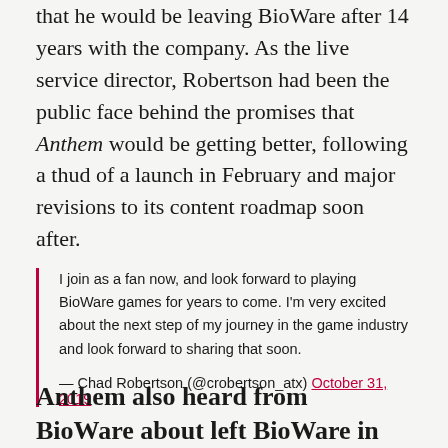that he would be leaving BioWare after 14 years with the company. As the live service director, Robertson had been the public face behind the promises that Anthem would be getting better, following a thud of a launch in February and major revisions to its content roadmap soon after.
I join as a fan now, and look forward to playing BioWare games for years to come. I'm very excited about the next step of my journey in the game industry and look forward to sharing that soon.

— Chad Robertson (@crobertson_atx) October 31, 2019
Anthem also heard from BioWare about left BioWare in...